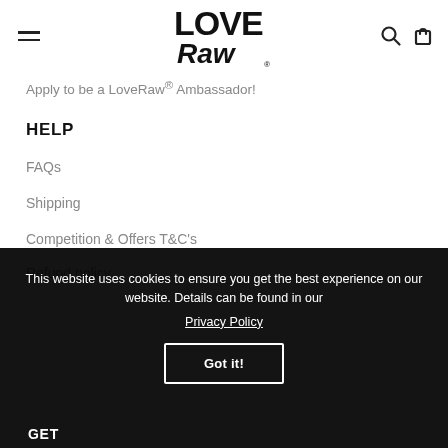LoveRaw logo with navigation icons
Apply to be a LoveRaw® Ambassador!
HELP
FAQs
Shipping
Competition & Offers T&C's
Refund policy
This website uses cookies to ensure you get the best experience on our website. Details can be found in our Privacy Policy
Got it!
GET